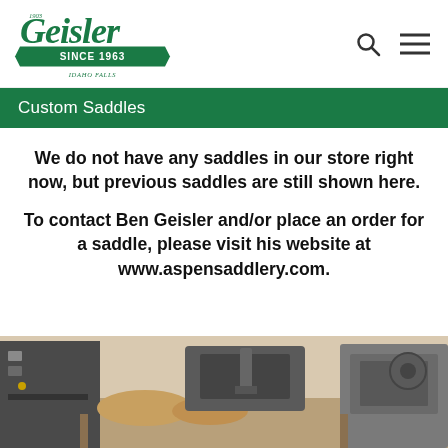[Figure (logo): Geisler logo with script text 'Geisler', green banner reading 'SINCE 1963', and 'IDAHO FALLS' text below]
Custom Saddles
We do not have any saddles in our store right now, but previous saddles are still shown here.
To contact Ben Geisler and/or place an order for a saddle, please visit his website at www.aspensaddlery.com.
[Figure (photo): Workshop photo showing sewing machines and saddle-making equipment on a workbench]